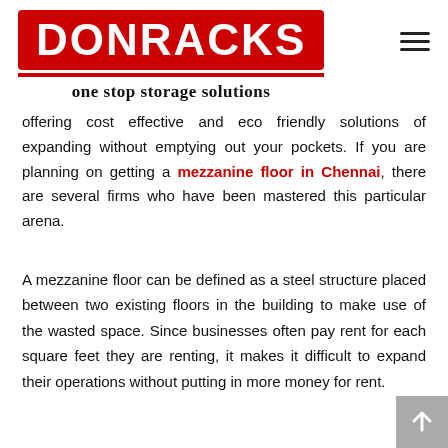[Figure (logo): DONRACKS logo — white text on red background with tagline 'one stop storage solutions' below]
offering cost effective and eco friendly solutions of expanding without emptying out your pockets. If you are planning on getting a mezzanine floor in Chennai, there are several firms who have been mastered this particular arena.
A mezzanine floor can be defined as a steel structure placed between two existing floors in the building to make use of the wasted space. Since businesses often pay rent for each square feet they are renting, it makes it difficult to expand their operations without putting in more money for rent.